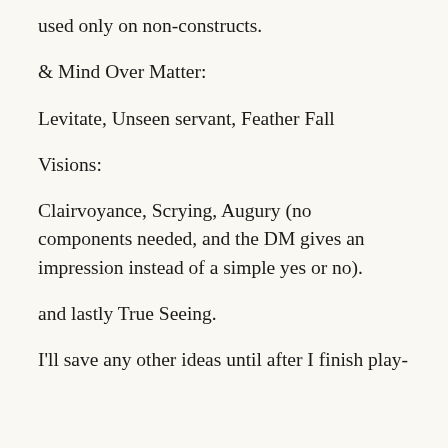used only on non-constructs.
& Mind Over Matter:
Levitate, Unseen servant, Feather Fall
Visions:
Clairvoyance, Scrying, Augury (no components needed, and the DM gives an impression instead of a simple yes or no).
and lastly True Seeing.
I'll save any other ideas until after I finish play-